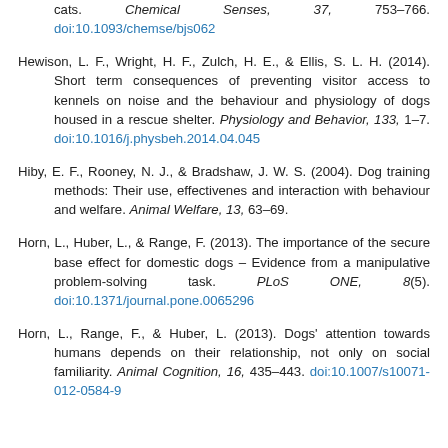cats. Chemical Senses, 37, 753–766. doi:10.1093/chemse/bjs062
Hewison, L. F., Wright, H. F., Zulch, H. E., & Ellis, S. L. H. (2014). Short term consequences of preventing visitor access to kennels on noise and the behaviour and physiology of dogs housed in a rescue shelter. Physiology and Behavior, 133, 1–7. doi:10.1016/j.physbeh.2014.04.045
Hiby, E. F., Rooney, N. J., & Bradshaw, J. W. S. (2004). Dog training methods: Their use, effectivenes and interaction with behaviour and welfare. Animal Welfare, 13, 63–69.
Horn, L., Huber, L., & Range, F. (2013). The importance of the secure base effect for domestic dogs – Evidence from a manipulative problem-solving task. PLoS ONE, 8(5). doi:10.1371/journal.pone.0065296
Horn, L., Range, F., & Huber, L. (2013). Dogs' attention towards humans depends on their relationship, not only on social familiarity. Animal Cognition, 16, 435–443. doi:10.1007/s10071-012-0584-9